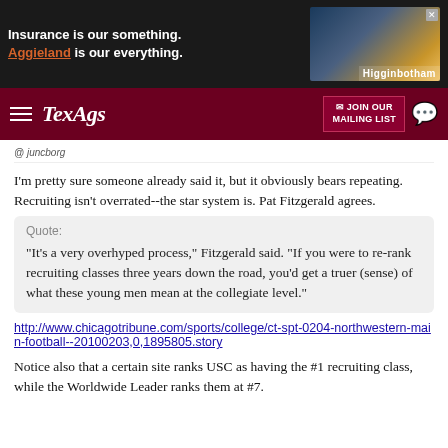[Figure (screenshot): Higginbotham insurance advertisement banner with text 'Insurance is our something. Aggieland is our everything.' and a cityscape photo with Higginbotham logo]
[Figure (screenshot): TexAgs navigation bar with hamburger menu, TexAgs logo, JOIN OUR MAILING LIST button, and chat icon]
I'm pretty sure someone already said it, but it obviously bears repeating. Recruiting isn't overrated--the star system is. Pat Fitzgerald agrees.
Quote: "It's a very overhyped process," Fitzgerald said. "If you were to re-rank recruiting classes three years down the road, you'd get a truer (sense) of what these young men mean at the collegiate level."
http://www.chicagotribune.com/sports/college/ct-spt-0204-northwestern-main-football--20100203,0,1895805.story
Notice also that a certain site ranks USC as having the #1 recruiting class, while the Worldwide Leader ranks them at #7.